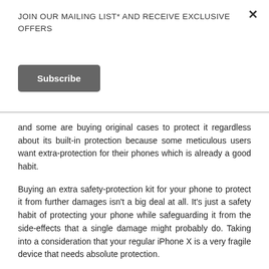JOIN OUR MAILING LIST* AND RECEIVE EXCLUSIVE OFFERS
Subscribe
and some are buying original cases to protect it regardless about its built-in protection because some meticulous users want extra-protection for their phones which is already a good habit.
Buying an extra safety-protection kit for your phone to protect it from further damages isn't a big deal at all. It's just a safety habit of protecting your phone while safeguarding it from the side-effects that a single damage might probably do. Taking into a consideration that your regular iPhone X is a very fragile device that needs absolute protection.
How do you protect your iPhone X?